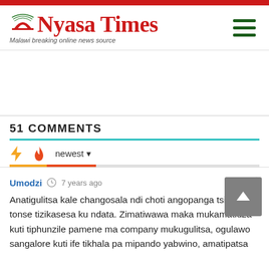Nyasa Times - Malawi breaking online news source
51 COMMENTS
newest
Umodzi  7 years ago
Anatigulitsa kale changosala ndi choti angopanga tsiku loti tonse tizikasesa ku ndata. Zimatiwawa maka mukamatiuza kuti tiphunzile pamene ma company mukugulitsa, ogulawo sangalore kuti ife tikhala pa mipando yabwino, amatipatsa